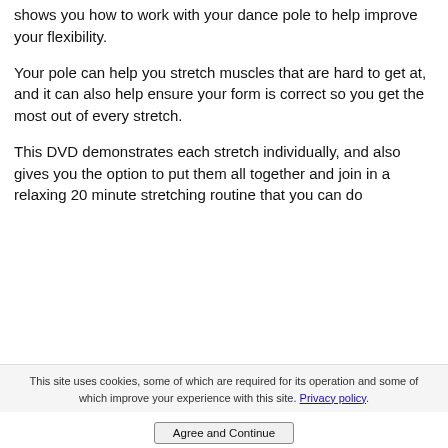The final DVD in the Pole Fitness Program shows you how to work with your dance pole to help improve your flexibility.
Your pole can help you stretch muscles that are hard to get at, and it can also help ensure your form is correct so you get the most out of every stretch.
This DVD demonstrates each stretch individually, and also gives you the option to put them all together and join in a relaxing 20 minute stretching routine that you can do
This site uses cookies, some of which are required for its operation and some of which improve your experience with this site. Privacy policy.
Agree and Continue